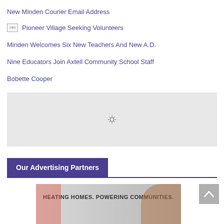New Minden Courier Email Address
Pioneer Village Seeking Volunteers
Minden Welcomes Six New Teachers And New A.D.
Nine Educators Join Axtell Community School Staff
Bobette Cooper
[Figure (other): Loading spinner / placeholder box with a sun/gear loading icon in center]
Our Advertising Partners
[Figure (photo): Advertisement banner showing a girl and a cat with text HEATING HOMES. POWERING COMMUNITIES.]